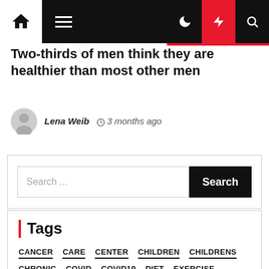Navigation bar with home, menu, moon, lightning, and search icons
Two-thirds of men think they are healthier than most other men
Lena Weib  3 months ago
Search ...
Tags
CANCER
CARE
CENTER
CHILDREN
CHILDRENS
CHRONIC
COVID
COVID19
DIET
EXERCISE